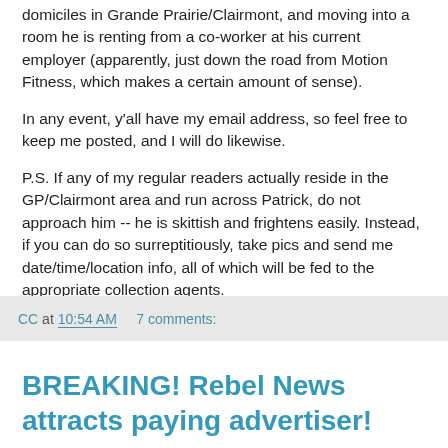domiciles in Grande Prairie/Clairmont, and moving into a room he is renting from a co-worker at his current employer (apparently, just down the road from Motion Fitness, which makes a certain amount of sense).
In any event, y'all have my email address, so feel free to keep me posted, and I will do likewise.
P.S. If any of my regular readers actually reside in the GP/Clairmont area and run across Patrick, do not approach him -- he is skittish and frightens easily. Instead, if you can do so surreptitiously, take pics and send me date/time/location info, all of which will be fed to the appropriate collection agents.
CC at 10:54 AM    7 comments:
BREAKING! Rebel News attracts paying advertiser!